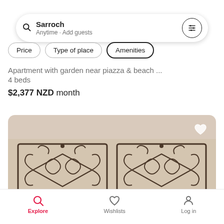[Figure (screenshot): Search bar with location 'Sarroch', subtitle 'Anytime · Add guests', and a filter icon button on the right]
Price  Type of place  Amenities (filter pills)
Apartment with garden near piazza & beach ...
4 beds
$2,377 NZD month
[Figure (photo): Interior photo showing decorative wrought iron wall art with scrollwork patterns, two panels side by side, against a beige wall]
Explore   Wishlists   Log in